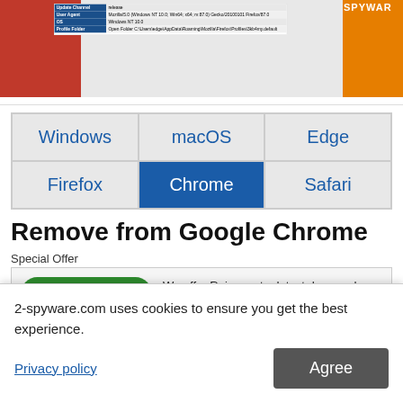[Figure (screenshot): Screenshot of browser info panel showing Update Channel, User Agent, OS, and Profile Folder fields, overlaid on a red/orange background with SPYWARE text]
| Windows | macOS | Edge |
| Firefox | Chrome | Safari |
Remove from Google Chrome
Special Offer
We offer Reimage to detect damaged files. nual repair or ore information
2-spyware.com uses cookies to ensure you get the best experience.
Privacy policy
Agree